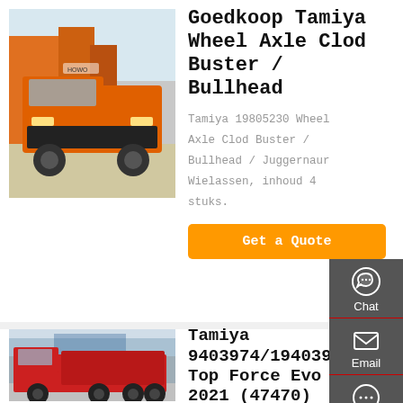[Figure (photo): Orange heavy-duty truck (HOWO) viewed from the front, parked in a lot with other red trucks and commercial buildings in background.]
Goedkoop Tamiya Wheel Axle Clod Buster / Bullhead
Tamiya 19805230 Wheel Axle Clod Buster / Bullhead / Juggernaut Wielassen, inhoud 4 stuks.
Get a Quote
[Figure (photo): Red heavy-duty dump truck viewed from the side, parked near commercial buildings.]
Tamiya 9403974/19403974 Top Force Evo 2021 (47470)